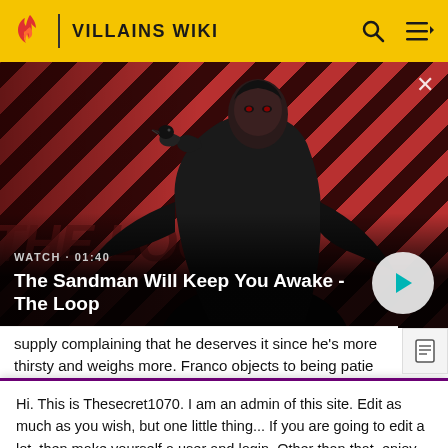VILLAINS WIKI
[Figure (screenshot): Video banner showing a dark-clothed figure with a raven on shoulder, standing against a red and black diagonal striped background. Text 'WATCH · 01:40' and title 'The Sandman Will Keep You Awake - The Loop' with a play button.]
supply complaining that he deserves it since he's more thirsty and weighs more. Franco objects to being patie
Hi. This is Thesecret1070. I am an admin of this site. Edit as much as you wish, but one little thing... If you are going to edit a lot, then make yourself a user and login. Other than that, enjoy Villains Wiki!!!